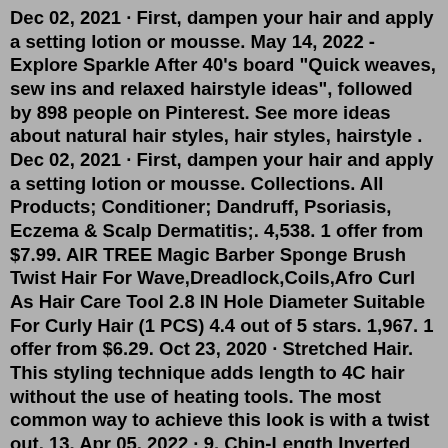Dec 02, 2021 · First, dampen your hair and apply a setting lotion or mousse. May 14, 2022 - Explore Sparkle After 40's board "Quick weaves, sew ins and relaxed hairstyle ideas", followed by 898 people on Pinterest. See more ideas about natural hair styles, hair styles, hairstyle . Dec 02, 2021 · First, dampen your hair and apply a setting lotion or mousse. Collections. All Products; Conditioner; Dandruff, Psoriasis, Eczema & Scalp Dermatitis;. 4,538. 1 offer from $7.99. AIR TREE Magic Barber Sponge Brush Twist Hair For Wave,Dreadlock,Coils,Afro Curl As Hair Care Tool 2.8 IN Hole Diameter Suitable For Curly Hair (1 PCS) 4.4 out of 5 stars. 1,967. 1 offer from $6.29. Oct 23, 2020 · Stretched Hair. This styling technique adds length to 4C hair without the use of heating tools. The most common way to achieve this look is with a twist out. 13. Apr 05, 2022 · 9. Chin-Length Inverted Bob. Carlos E. Santa Maria/Shutterstock. Make your bob a little more unique by making it inverted – shorter in the back and longer in the front. This is a bold look that